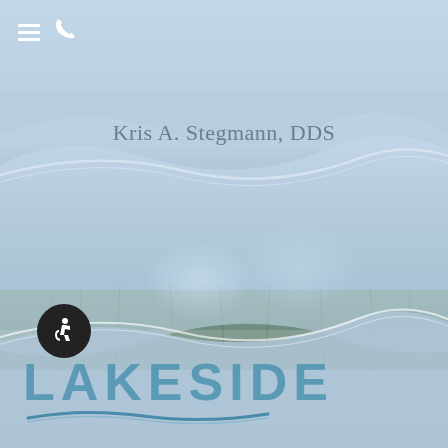[Figure (illustration): Dental practice website screenshot with light blue/grey gradient background, wave design elements overlaying a landscape photo of water and grasses, navigation hamburger menu and phone icon at top left, 'Kris A. Stegmann, DDS' text centered, accessibility icon and Lakeside logo at bottom.]
Kris A. Stegmann, DDS
[Figure (logo): Lakeside dental practice logo with accessibility wheelchair icon in black circle and 'LAKESIDE' text in teal/blue with wave underline graphic.]